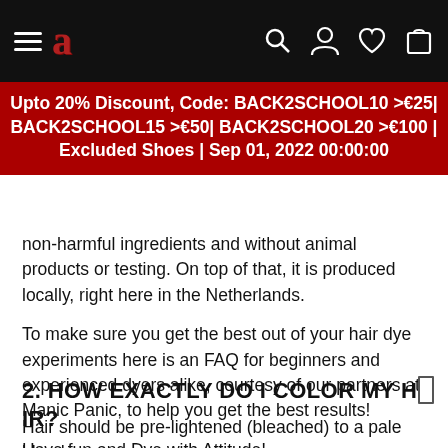Navigation bar with hamburger menu, logo 'a', search, account, wishlist, and cart icons
Upto 20% Discount, Code: BACK2SCHOOL10 >€25| BACK2SCHOOL15 >€50| BACK2SCHOOL20 >€100 | Excluded Shoes | Sep 01, 2022 00:00:00
non-harmful ingredients and without animal products or testing. On top of that, it is produced locally, right here in the Netherlands.
To make sure you get the best out of your hair dye experiments here is an FAQ for beginners and experienced dyers alike, courtesy of our partners at Manic Panic, to help you get the best results!
Have fun and Dye with Attitude!
2. HOW EXACTLY DO I COLOR MY HAIR?
Hair should be pre-lightened (bleached) to a pale blonde